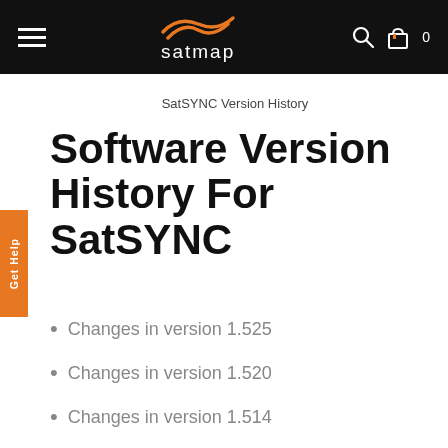satmap
SatSYNC Version History
Software Version History For SatSYNC
Changes in version 1.525
Changes in version 1.520
Changes in version 1.514